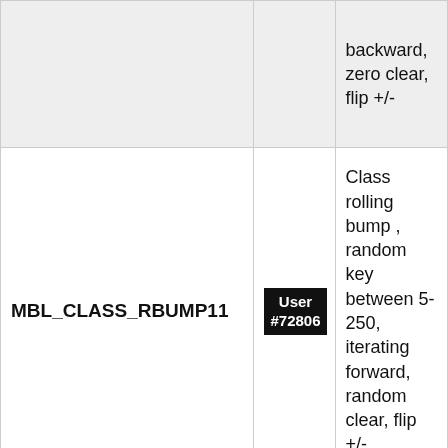| Name | User | Description |
| --- | --- | --- |
|  | User #72806 | backward, zero clear, flip +/- |
| MBL_CLASS_RBUMP11 | User #72806 | Class rolling bump , random key between 5-250, iterating forward, random clear, flip +/- |
| MBL_CLASS_RBUMP12 | User #72806 | Class rolling bump , random key between 10-240, iterating backward, random clear, flip |